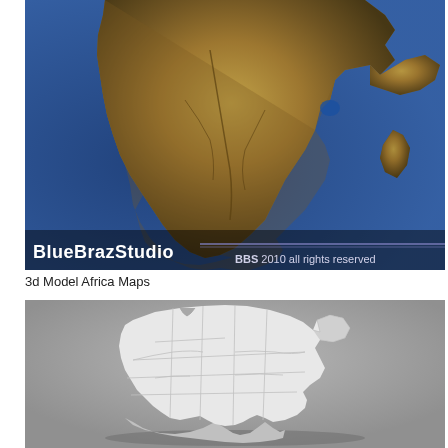[Figure (map): 3D rendered satellite-style terrain map of Africa showing topography with golden/brown land masses against a blue ocean background. Text overlay in lower left reads 'BlueBrazStudio' with lines and 'BBS 2010 all rights reserved' in lower right.]
3d Model Africa Maps
[Figure (map): 3D rendered white/light grey model of Africa showing country borders and divisions, viewed from a slightly elevated angle against a grey background. The continent appears as a raised white 3D solid with internal country boundary lines.]